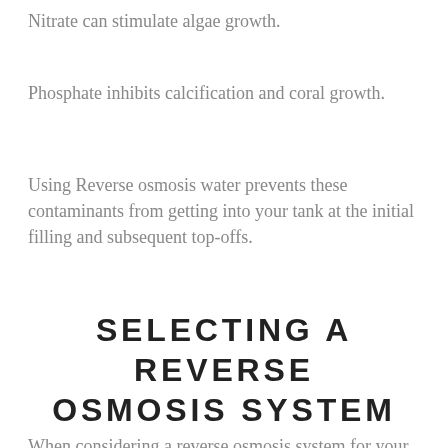Nitrate can stimulate algae growth.
Phosphate inhibits calcification and coral growth.
Using Reverse osmosis water prevents these contaminants from getting into your tank at the initial filling and subsequent top-offs.
SELECTING A REVERSE OSMOSIS SYSTEM
When considering a reverse osmosis system for your